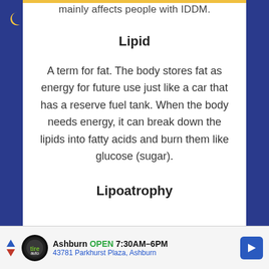mainly affects people with IDDM.
Lipid
A term for fat. The body stores fat as energy for future use just like a car that has a reserve fuel tank. When the body needs energy, it can break down the lipids into fatty acids and burn them like glucose (sugar).
Lipoatrophy
Ashburn OPEN 7:30AM–6PM 43781 Parkhurst Plaza, Ashburn